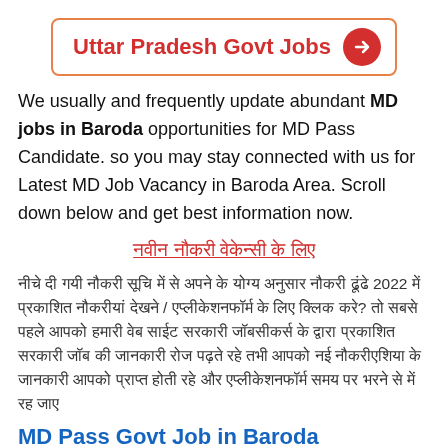[Figure (infographic): Uttar Pradesh Govt Jobs banner button with red circle arrow icon, orange border]
We usually and frequently update abundant MD jobs in Baroda opportunities for MD Pass Candidate. so you may stay connected with us for Latest MD Job Vacancy in Baroda Area. Scroll down below and get best information now.
नवीन नौकरी वेकेन्सी के लिए
नीचे दी गयी नौकरी सूचि में से अपने के योग्य अनुसार नौकरी ढूंढे 2022 में प्रकाशित नौकरीयां देखने / एप्लीकेशनफॉर्म के लिए क्लिक करे? तो सबसे पहले आपको हमारी वेब साईट सरकारी जॉबसीकर्स के द्वारा प्रकाशित सरकारी जॉब की जानकारी रोज पढ़ते रहे तभी आपको नई नौकरीएशिया के जानकारी आपको प्राप्त होती रहे और एप्लीकेशनफॉर्म समय पर भरने से में रह जाए
MD Pass Govt Job in Baroda